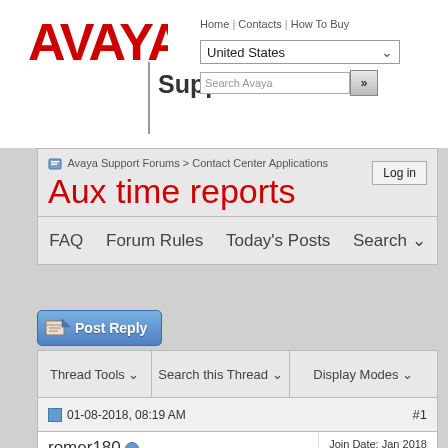[Figure (logo): Avaya logo in red bold text]
Support
Home | Contacts | How To Buy
United States
Search Avaya
Avaya Support Forums > Contact Center Applications
Aux time reports
Log in
FAQ   Forum Rules   Today's Posts   Search
Post Reply
Thread Tools   Search this Thread   Display Modes
01-08-2018, 08:19 AM   #1
romer180
Aspiring Member
Join Date: Jan 2018
Posts: 1